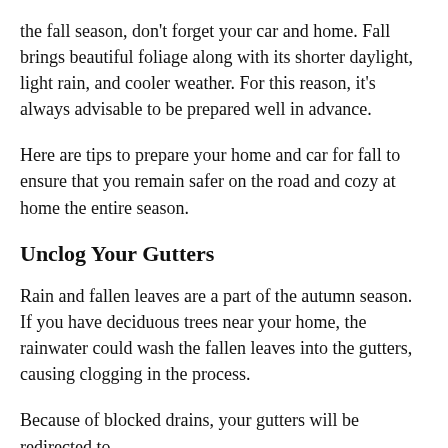the fall season, don't forget your car and home. Fall brings beautiful foliage along with its shorter daylight, light rain, and cooler weather. For this reason, it's always advisable to be prepared well in advance.
Here are tips to prepare your home and car for fall to ensure that you remain safer on the road and cozy at home the entire season.
Unclog Your Gutters
Rain and fallen leaves are a part of the autumn season. If you have deciduous trees near your home, the rainwater could wash the fallen leaves into the gutters, causing clogging in the process.
Because of blocked drains, your gutters will be redirected to...